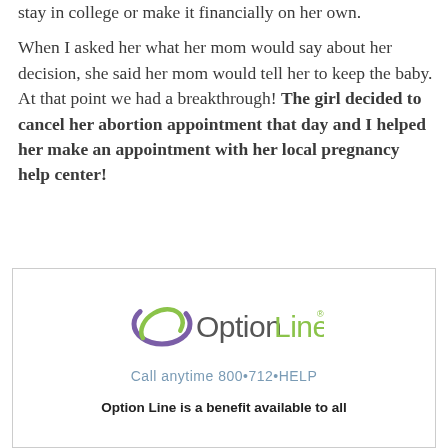stay in college or make it financially on her own.

When I asked her what her mom would say about her decision, she said her mom would tell her to keep the baby. At that point we had a breakthrough! The girl decided to cancel her abortion appointment that day and I helped her make an appointment with her local pregnancy help center!
[Figure (logo): Option Line logo with purple and green swirl and text, tagline 'Call anytime 800•712•HELP']
Option Line is a benefit available to all